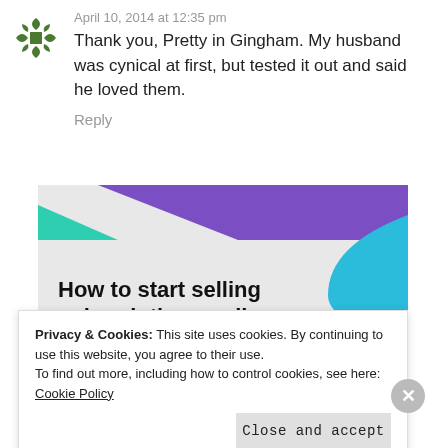April 10, 2014 at 12:35 pm
Thank you, Pretty in Gingham. My husband was cynical at first, but tested it out and said he loved them.
Reply
[Figure (illustration): Advertisement banner: How to start selling subscriptions online, with purple and teal geometric shapes on light gray background and a purple button.]
Privacy & Cookies: This site uses cookies. By continuing to use this website, you agree to their use. To find out more, including how to control cookies, see here: Cookie Policy
Close and accept